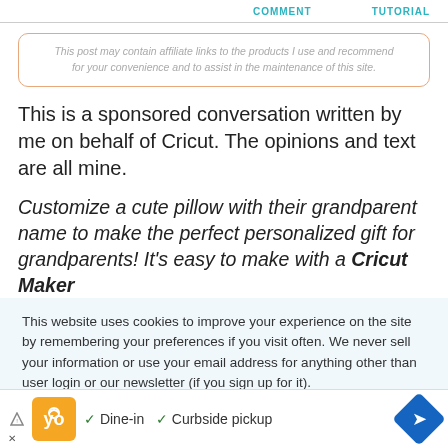COMMENT    TUTORIAL
This post may contain affiliate links to the products I use and recommend for your convenience and to assist in the maintenance of this site.
This is a sponsored conversation written by me on behalf of Cricut. The opinions and text are all mine.
Customize a cute pillow with their grandparent name to make the perfect personalized gift for grandparents! It’s easy to make with a Cricut Maker
This website uses cookies to improve your experience on the site by remembering your preferences if you visit often. We never sell your information or use your email address for anything other than user login or our newsletter (if you sign up for it).
[Figure (infographic): Advertisement banner at bottom of page showing a restaurant ad with orange logo, checkmarks for Dine-in and Curbside pickup, and a blue navigation arrow icon.]